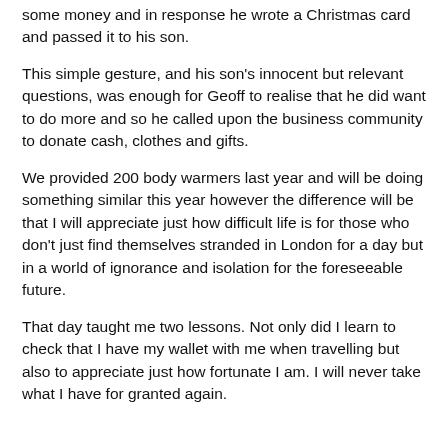some money and in response he wrote a Christmas card and passed it to his son.
This simple gesture, and his son's innocent but relevant questions, was enough for Geoff to realise that he did want to do more and so he called upon the business community to donate cash, clothes and gifts.
We provided 200 body warmers last year and will be doing something similar this year however the difference will be that I will appreciate just how difficult life is for those who don't just find themselves stranded in London for a day but in a world of ignorance and isolation for the foreseeable future.
That day taught me two lessons. Not only did I learn to check that I have my wallet with me when travelling but also to appreciate just how fortunate I am. I will never take what I have for granted again.